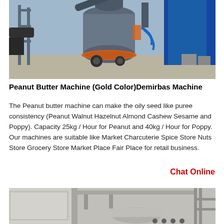[Figure (photo): Industrial machinery — a large gray cylindrical grinding mill with orange base ring, blue structural frames and equipment in an outdoor industrial yard setting.]
Peanut Butter Machine (Gold Color)Demirbas Machine
The Peanut butter machine can make the oily seed like puree consistency (Peanut Walnut Hazelnut Almond Cashew Sesame and Poppy). Capacity 25kg / Hour for Peanut and 40kg / Hour for Poppy. Our machines are suitable like Market Charcuterie Spice Store Nuts Store Grocery Store Market Place Fair Place for retail business.
Chat Online
[Figure (photo): Industrial interior with large cylindrical tanks, piping equipment, and metal framework in a factory or processing plant setting.]